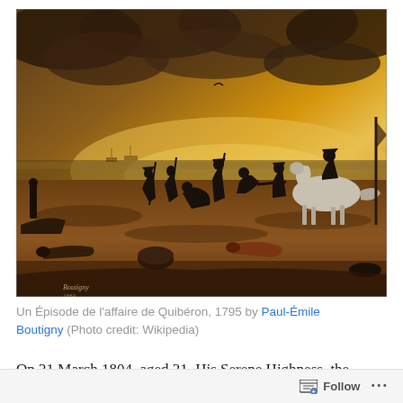[Figure (illustration): Oil painting 'Un Épisode de l'affaire de Quibéron, 1795' by Paul-Émile Boutigny. A dramatic battle scene with soldiers on a beach at dusk, dark silhouettes against a golden-orange sky, figures with muskets, a rider on a white horse, and fallen soldiers on the ground.]
Un Épisode de l'affaire de Quibéron, 1795 by Paul-Émile Boutigny (Photo credit: Wikipedia)
On 21 March 1804, aged 31, His Serene Highness, the